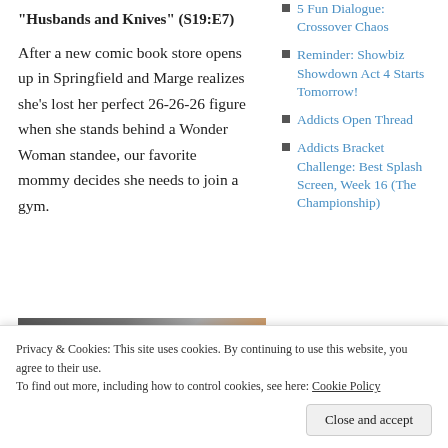“Husbands and Knives” (S19:E7)
After a new comic book store opens up in Springfield and Marge realizes she’s lost her perfect 26-26-26 figure when she stands behind a Wonder Woman standee, our favorite mommy decides she needs to join a gym.
[Figure (photo): Screenshot of a video or VHS-style image with text 'WHAT WE'RE WATCHING' showing animated characters]
5 Fun Dialogue: Crossover Chaos
Reminder: Showbiz Showdown Act 4 Starts Tomorrow!
Addicts Open Thread
Addicts Bracket Challenge: Best Splash Screen, Week 16 (The Championship)
Privacy & Cookies: This site uses cookies. By continuing to use this website, you agree to their use.
To find out more, including how to control cookies, see here: Cookie Policy
Close and accept